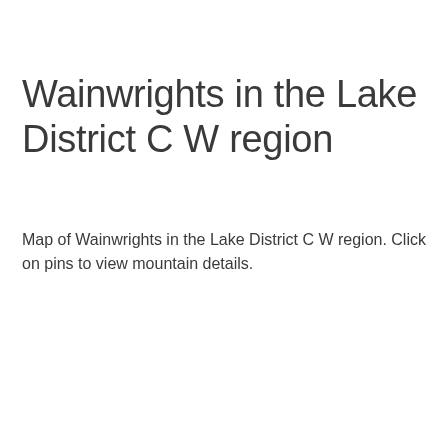Wainwrights in the Lake District C W region
Map of Wainwrights in the Lake District C W region. Click on pins to view mountain details.